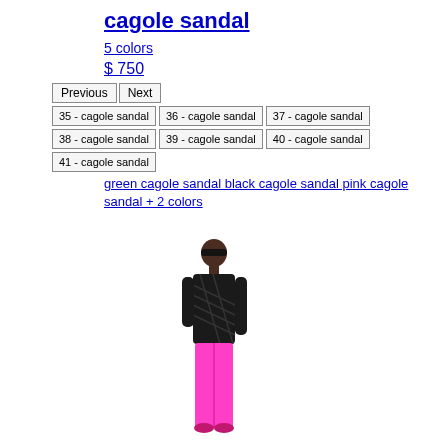cagole sandal
5 colors
$ 750
Previous  Next
35 - cagole sandal
36 - cagole sandal
37 - cagole sandal
38 - cagole sandal
39 - cagole sandal
40 - cagole sandal
41 - cagole sandal
green cagole sandal black cagole sandal pink cagole sandal + 2 colors
[Figure (photo): Model wearing black patterned long-sleeve top and bright pink pants/leggings, with sunglasses]